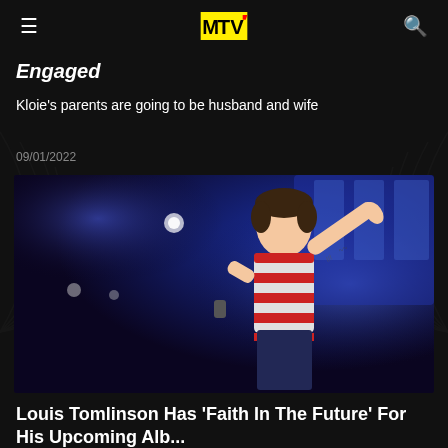MTV
Engaged
Kloie's parents are going to be husband and wife
09/01/2022
[Figure (photo): A young man in a red and white striped t-shirt performing on stage, pointing upward with his right hand, tattoos visible on arm, microphone in hand, blue stage lighting in background.]
Louis Tomlinson Has 'Faith In The Future' For His Upcoming Alb...